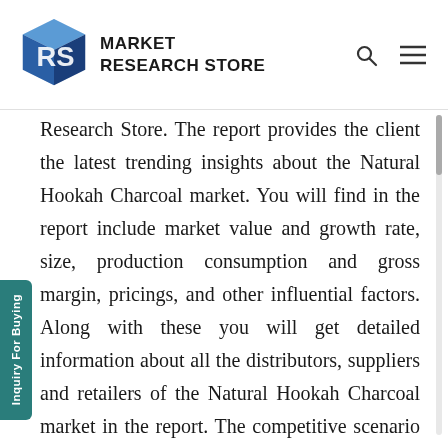MARKET RESEARCH STORE
Research Store. The report provides the client the latest trending insights about the Natural Hookah Charcoal market. You will find in the report include market value and growth rate, size, production consumption and gross margin, pricings, and other influential factors. Along with these you will get detailed information about all the distributors, suppliers and retailers of the Natural Hookah Charcoal market in the report. The competitive scenario of all the industry players are mentioned in-detail in the report. Due to the pandemic the market players have strategically changed their